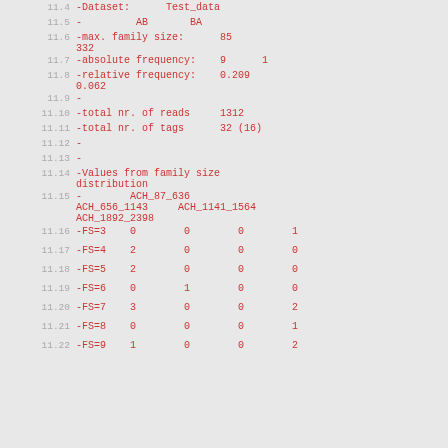11.4  -Dataset:      Test_data
11.5  -         AB       BA
11.6  -max. family size:      85
      332
11.7  -absolute frequency:    9      1
11.8  -relative frequency:    0.209
      0.062
11.9  -
11.10 -total nr. of reads     1312
11.11 -total nr. of tags      32 (16)
11.12 -
11.13 -
11.14 -Values from family size
       distribution
11.15 -        ACH_87_636
       ACH_656_1143     ACH_1141_1564
       ACH_1892_2398
11.16 -FS=3    0        0        0        1
11.17 -FS=4    2        0        0        0
11.18 -FS=5    2        0        0        0
11.19 -FS=6    0        1        0        0
11.20 -FS=7    3        0        0        2
11.21 -FS=8    0        0        0        1
11.22 -FS=9    1        0        0        2